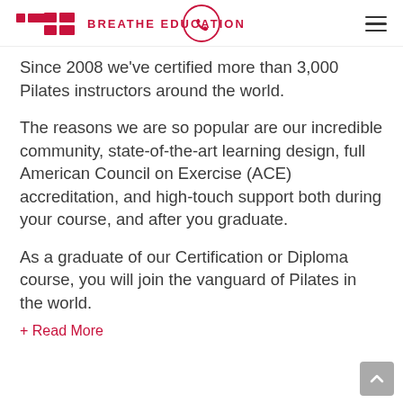BREATHE EDUCATION
Since 2008 we've certified more than 3,000 Pilates instructors around the world.
The reasons we are so popular are our incredible community, state-of-the-art learning design, full American Council on Exercise (ACE) accreditation, and high-touch support both during your course, and after you graduate.
As a graduate of our Certification or Diploma course, you will join the vanguard of Pilates in the world.
+ Read More